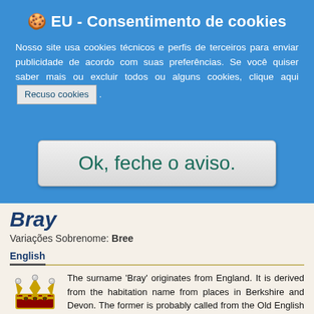🍪 EU - Consentimento de cookies
Nosso site usa cookies técnicos e perfis de terceiros para enviar publicidade de acordo com suas preferências. Se você quiser saber mais ou excluir todos ou alguns cookies, clique aqui Recuso cookies .
Ok, feche o aviso.
Bray
Variações Sobrenome: Bree
English
The surname 'Bray' originates from England. It is derived from the habitation name from places in Berkshire and Devon. The former is probably called from the Old English word 'bray' meaning marsh, the latter is from the Cornish element 'bre' meaning hill. Compiled information from Historical and Private